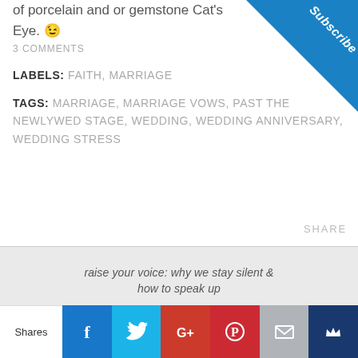anything based off the 10th wedding anniversary of porcelain and or gemstone Cat's Eye. 😉
3 COMMENTS
LABELS: FAITH, MARRIAGE
TAGS: MARRIAGE, MARRIAGE VOWS, PAST THE NEWLYWED STAGE, WEDDING, WEDDING ANNIVERSARY, WEDDING STRESS
SHARE
raise your voice: why we stay silent & how to speak up
home
about kathy
speaking schedule, endorsements, & contact information
[Figure (infographic): Social media share bar with Facebook, Twitter, Google+, Pinterest, Email, and Kinship buttons]
Shares